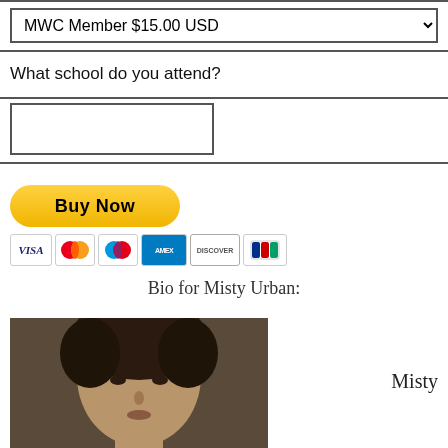[Figure (screenshot): Dropdown select box with 'MWC Member $15.00 USD' option and dropdown arrow]
What school do you attend?
[Figure (screenshot): Empty text input field for school name]
[Figure (screenshot): PayPal Buy Now button (yellow rounded rectangle) with credit card icons below: VISA, Mastercard, Maestro, American Express, Discover, JCB]
Bio for Misty Urban:
[Figure (photo): Black and white photograph of Misty Urban, showing her face and dark hair]
Misty